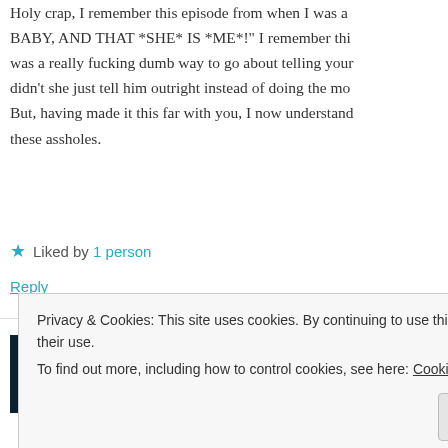Holy crap, I remember this episode from when I was a BABY, AND THAT *SHE* IS *ME*! I remember this was a really fucking dumb way to go about telling your didn't she just tell him outright instead of doing the mo But, having made it this far with you, I now understand these assholes.
★ Liked by 1 person
Reply
Santanaonfire says:
March 19, 2012 at 1:29 am
Privacy & Cookies: This site uses cookies. By continuing to use this website, you agree to their use.
To find out more, including how to control cookies, see here: Cookie Policy
Close and accept